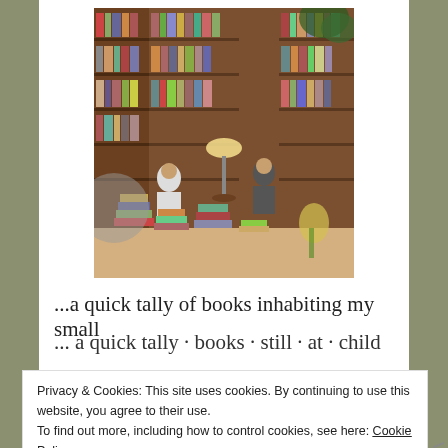[Figure (photo): A vintage photo of a cozy library/bookshop interior with floor-to-ceiling wooden bookshelves packed with books, two people sitting among stacks of books on the floor, and a lamp in the center.]
...a quick tally of books inhabiting my small
... (partially obscured by cookie overlay)
Privacy & Cookies: This site uses cookies. By continuing to use this website, you agree to their use.
To find out more, including how to control cookies, see here: Cookie Policy
Close and accept